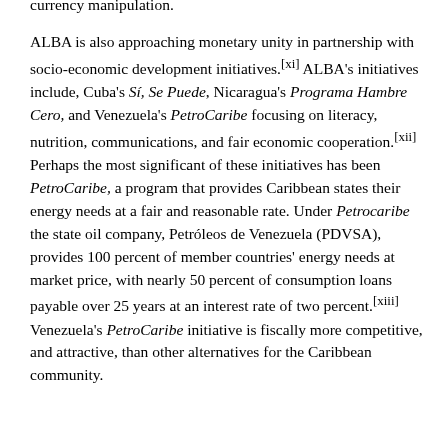foreign currency exchange, through a regional currency, denominates the bloc as financially self-contained from U.S. currency manipulation.
ALBA is also approaching monetary unity in partnership with socio-economic development initiatives.[xi] ALBA's initiatives include, Cuba's Sí, Se Puede, Nicaragua's Programa Hambre Cero, and Venezuela's PetroCaribe focusing on literacy, nutrition, communications, and fair economic cooperation.[xii] Perhaps the most significant of these initiatives has been PetroCaribe, a program that provides Caribbean states their energy needs at a fair and reasonable rate. Under Petrocaribe the state oil company, Petróleos de Venezuela (PDVSA), provides 100 percent of member countries' energy needs at market price, with nearly 50 percent of consumption loans payable over 25 years at an interest rate of two percent.[xiii] Venezuela's PetroCaribe initiative is fiscally more competitive, and attractive, than other alternatives for the Caribbean community.